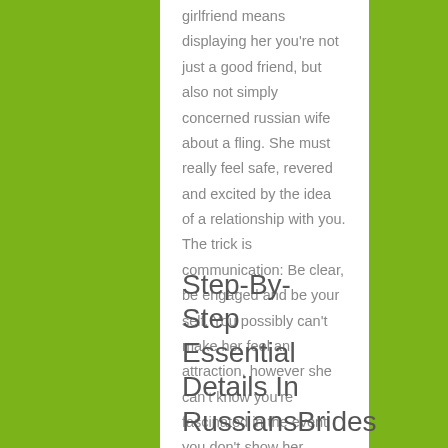girlfriend means displaying her you're not just a good friend, but also not simply concerned russian wife about a fling. She must really feel safe, revered and excited by the idea of a relationship with you. The trick is communication: Be clear, be engaged and be your self. You possibly can't make her feel an attraction, however she can't know you're fascinated in the event you don't show her.
Step-By-Step Essential Details In RussiansBrides